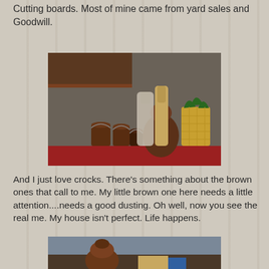Cutting boards. Most of mine came from yard sales and Goodwill.
[Figure (photo): A red shelf displaying several brown ceramic crocks/jars with wire bale lids, two wooden cutting boards (one white/distressed, one natural wood paddle shape), a large brown ceramic jug, and a decorative pineapple cutout, against a gray-brown wall background.]
And I just love crocks. There's something about the brown ones that call to me. My little brown one here needs a little attention....needs a good dusting. Oh well, now you see the real me. My house isn't perfect. Life happens.
[Figure (photo): Partial view of a shelf showing a brown ceramic crock and what appears to be wooden items on a dark shelf against a blue-gray wall.]